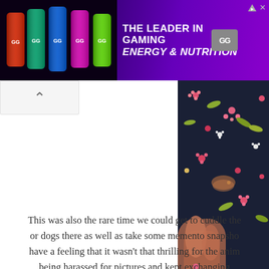[Figure (other): Advertisement banner for GG gaming energy drink. Purple/dark background with cans on the left and text 'THE LEADER IN GAMING ENERGY & NUTRITION' on the right with GG logo.]
[Figure (photo): Close-up photo of a person cuddling a Scottish Fold cat against a dark floral-patterned fabric.]
Me cuddling a Scottish Fold cat...
This was also the rare time we could get to cuddle the or dogs there as well as take some memento snapshots. have a feeling that it wasn't that thrilling for the anim being harassed for pictures and kept exchanging